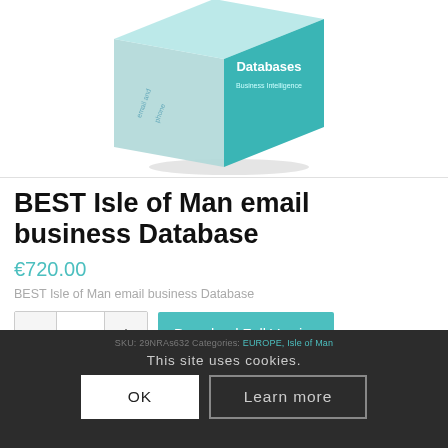[Figure (illustration): 3D product box with teal color showing 'email and phone' on the side and 'Databases Business Intelligence' on the front face]
BEST Isle of Man email business Database
€720.00
BEST Isle of Man email business Database
This site uses cookies.
OK
Learn more